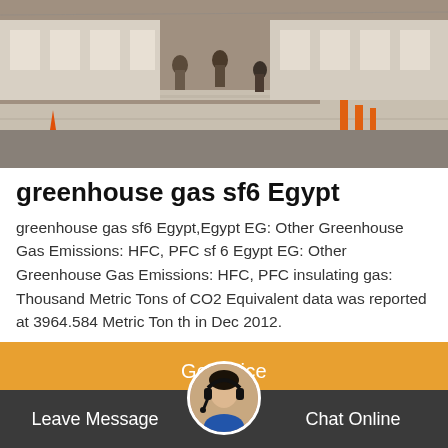[Figure (photo): Construction site photo showing workers and prefabricated buildings/trailers with people walking in the foreground on a paved area, with orange safety cones and fencing visible]
greenhouse gas sf6 Egypt
greenhouse gas sf6 Egypt,Egypt EG: Other Greenhouse Gas Emissions: HFC, PFC sf 6 Egypt EG: Other Greenhouse Gas Emissions: HFC, PFC insulating gas: Thousand Metric Tons of CO2 Equivalent data was reported at 3964.584 Metric Ton th in Dec 2012.
Get Price
Leave Message
Chat Online